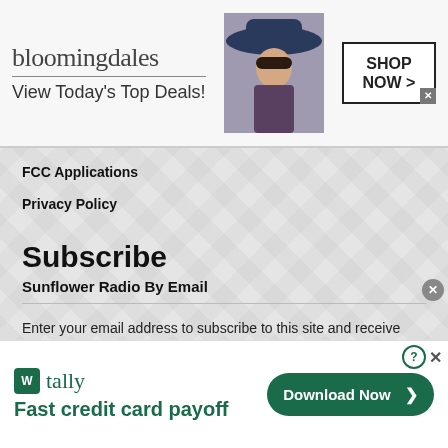[Figure (other): Bloomingdale's advertisement banner with logo, model in hat, tagline 'View Today's Top Deals!' and 'SHOP NOW >' button]
FCC Applications
Privacy Policy
Subscribe
Sunflower Radio By Email
Enter your email address to subscribe to this site and receive notifications of new posts by email.
[Figure (other): Tally advertisement banner with logo, tagline 'Fast credit card payoff' and 'Download Now >' button]